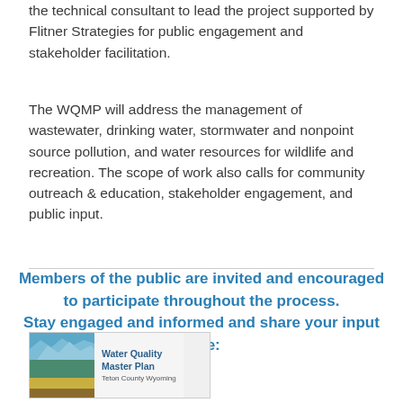the technical consultant to lead the project supported by Flitner Strategies for public engagement and stakeholder facilitation.
The WQMP will address the management of wastewater, drinking water, stormwater and nonpoint source pollution, and water resources for wildlife and recreation. The scope of work also calls for community outreach & education, stakeholder engagement, and public input.
Members of the public are invited and encouraged to participate throughout the process.
Stay engaged and informed and share your input here:
[Figure (logo): Water Quality Master Plan logo with mountain/water imagery and text 'Water Quality Master Plan']